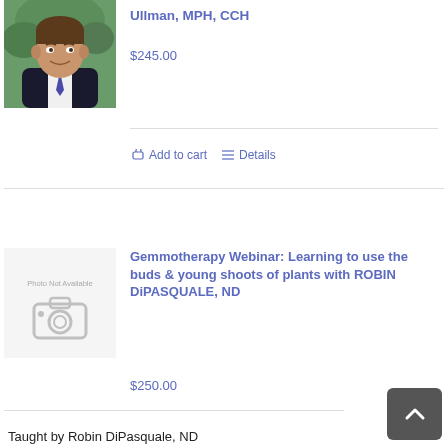Ullman, MPH, CCH
$245.00
Add to cart    Details
[Figure (photo): Headshot photo of a man in a dark suit and tie, smiling, outdoors with green background]
[Figure (photo): Photo not available placeholder with camera icon]
Gemmotherapy Webinar: Learning to use the buds & young shoots of plants with ROBIN DiPASQUALE, ND
$250.00
Taught by Robin DiPasquale, ND